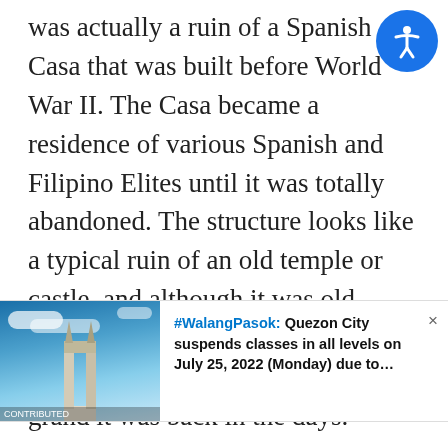was actually a ruin of a Spanish Casa that was built before World War II. The Casa became a residence of various Spanish and Filipino Elites until it was totally abandoned. The structure looks like a typical ruin of an old temple or castle, and although it was old, dilapidated and weak, it somehow gives a beautiful reminder of how grand it was back in the days.
[Figure (photo): A notification/ad bar showing a photo of a monument against a blue sky with clouds, alongside bold text reading '#WalangPasok: Quezon City suspends classes in all levels on July 25, 2022 (Monday) due to...' with an X close button.]